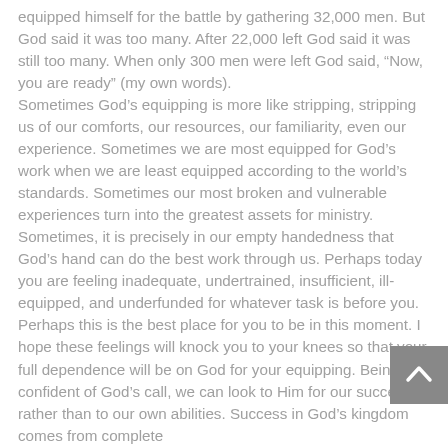equipped himself for the battle by gathering 32,000 men. But God said it was too many. After 22,000 left God said it was still too many. When only 300 men were left God said, “Now, you are ready” (my own words). Sometimes God’s equipping is more like stripping, stripping us of our comforts, our resources, our familiarity, even our experience. Sometimes we are most equipped for God’s work when we are least equipped according to the world’s standards. Sometimes our most broken and vulnerable experiences turn into the greatest assets for ministry. Sometimes, it is precisely in our empty handedness that God’s hand can do the best work through us. Perhaps today you are feeling inadequate, undertrained, insufficient, ill-equipped, and underfunded for whatever task is before you. Perhaps this is the best place for you to be in this moment. I hope these feelings will knock you to your knees so that your full dependence will be on God for your equipping. Being confident of God’s call, we can look to Him for our success rather than to our own abilities. Success in God’s kingdom comes from complete